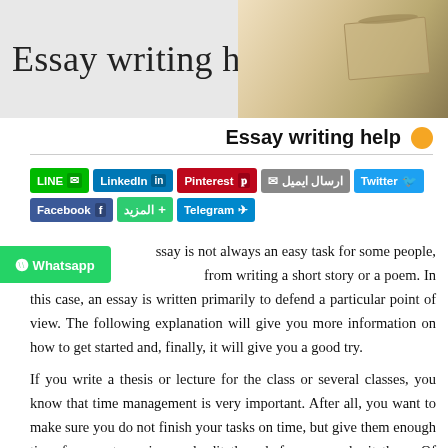Essay writing help
Essay writing help
[Figure (infographic): Social share buttons row: LINE, LinkedIn, Pinterest, ارسال ايميل, Twitter, Facebook, المزيد, Telegram]
...say is not always an easy task for some people, because ...from writing a short story or a poem. In this case, an essay is written primarily to defend a particular point of view. The following explanation will give you more information on how to get started and, finally, it will give you a good try.
If you write a thesis or lecture for the class or several classes, you know that time management is very important. After all, you want to make sure you do not finish your tasks on time, but give them enough time for you to review and edit them before you submit them. Of course, with all the work you can do, you can ask for help writing a